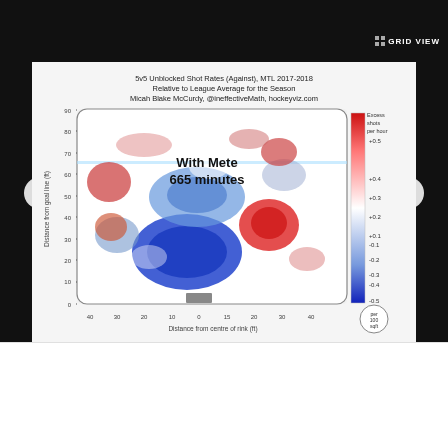[Figure (continuous-plot): Hockey rink shot rate heat map showing excess shots per hour with Mete, 665 minutes. Blue areas indicate negative (fewer shots against), red areas indicate positive (more shots against). X-axis: Distance from centre of rink (ft), Y-axis: Distance from goal line (ft). Color scale from -0.5 to +0.5.]
Image credit: HockeyViz
1 of 2
[Figure (logo): Circular sports team logo with hockey imagery]
[Figure (infographic): Twitter bird icon (social share) and Facebook f icon (social share)]